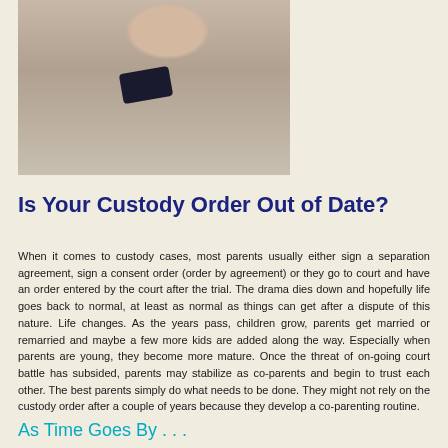[Figure (photo): Person holding a smartphone, upper body visible, wearing a light-colored top, photographed from above on a light background]
Is Your Custody Order Out of Date?
When it comes to custody cases, most parents usually either sign a separation agreement, sign a consent order (order by agreement) or they go to court and have an order entered by the court after the trial. The drama dies down and hopefully life goes back to normal, at least as normal as things can get after a dispute of this nature. Life changes. As the years pass, children grow, parents get married or remarried and maybe a few more kids are added along the way. Especially when parents are young, they become more mature. Once the threat of on-going court battle has subsided, parents may stabilize as co-parents and begin to trust each other. The best parents simply do what needs to be done. They might not rely on the custody order after a couple of years because they develop a co-parenting routine.
As Time Goes By . . .